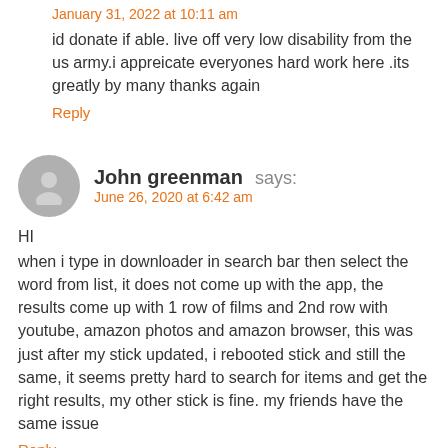January 31, 2022 at 10:11 am
id donate if able. live off very low disability from the us army.i appreicate everyones hard work here .its greatly by many thanks again
Reply
John greenman says:
June 26, 2020 at 6:42 am
HI
when i type in downloader in search bar then select the word from list, it does not come up with the app, the results come up with 1 row of films and 2nd row with youtube, amazon photos and amazon browser, this was just after my stick updated, i rebooted stick and still the same, it seems pretty hard to search for items and get the right results, my other stick is fine. my friends have the same issue
Reply
Bob Morri...